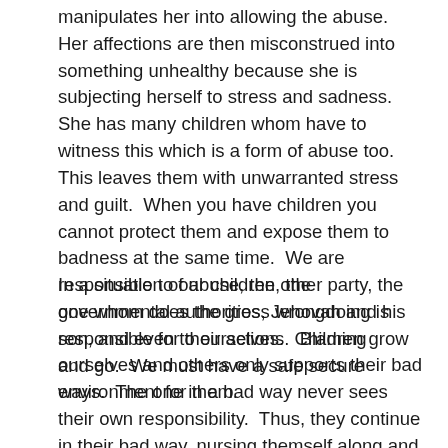manipulates her into allowing the abuse.  Her affections are then misconstrued into something unhealthy because she is subjecting herself to stress and sadness.  She has many children whom have to witness this which is a form of abuse too.  This leaves them with unwarranted stress and guilt.  When you have children you cannot protect them and expose them to badness at the same time.  We are responsible to our children, the governmental authorities, Jehovah and his son, and even to ourselves.  Children grow and go.  We must have a safe secure environment for them.
In a situation of abuse, the other party, the one whom does the gross wrongdoing is responsible for their actions.  Blaming ourselves and others only supports their bad ways.  The one in a bad way never sees their own responsibility.  Thus, they continue in their bad way, nursing themself along and others nursing them too.  Freedom and peace comes with decisive action when